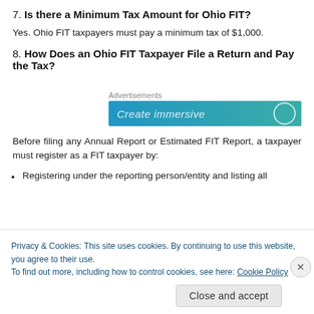7. Is there a Minimum Tax Amount for Ohio FIT?
Yes. Ohio FIT taxpayers must pay a minimum tax of $1,000.
8. How Does an Ohio FIT Taxpayer File a Return and Pay the Tax?
[Figure (other): Advertisement banner with gradient blue-teal background and partially visible text 'Create immersive']
Before filing any Annual Report or Estimated FIT Report, a taxpayer must register as a FIT taxpayer by:
Registering under the reporting person/entity and listing all
Privacy & Cookies: This site uses cookies. By continuing to use this website, you agree to their use.
To find out more, including how to control cookies, see here: Cookie Policy